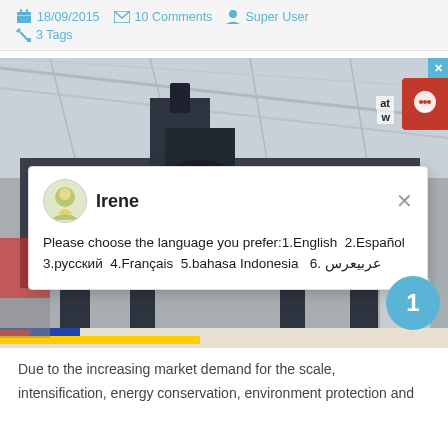18/09/2015  10 Comments  Super User  3 Tags
[Figure (photo): Industrial machine (crusher/mining equipment) displayed in a factory hall with steel truss ceiling. A live chat popup from 'Irene' overlays the image asking the user to choose a language. A red chat icon and blue badge with '1' are also visible.]
Due to the increasing market demand for the scale, intensification, energy conservation, environment protection and